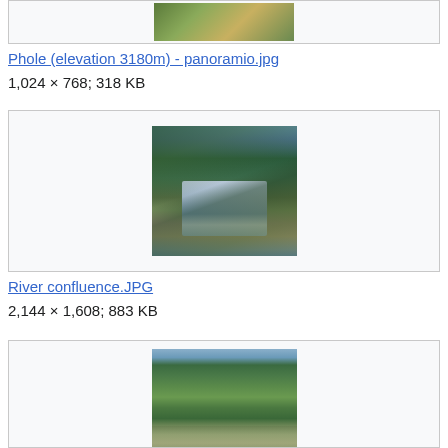[Figure (photo): Partial view of a mountain/landscape photo at top of page]
Phole (elevation 3180m) - panoramio.jpg
1,024 × 768; 318 KB
[Figure (photo): Photo of a river confluence running through a steep mountain gorge with green forested slopes]
River confluence.JPG
2,144 × 1,608; 883 KB
[Figure (photo): Partial photo of a green valley with forested hills, partially visible at bottom of page]